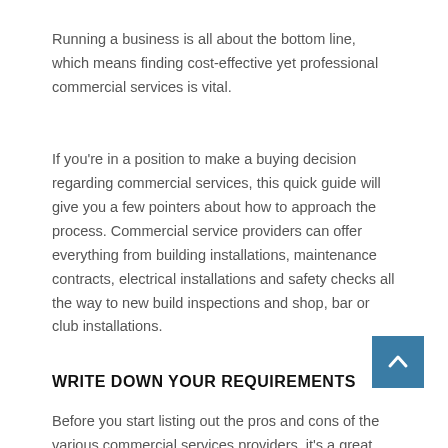Running a business is all about the bottom line, which means finding cost-effective yet professional commercial services is vital.
If you're in a position to make a buying decision regarding commercial services, this quick guide will give you a few pointers about how to approach the process. Commercial service providers can offer everything from building installations, maintenance contracts, electrical installations and safety checks all the way to new build inspections and shop, bar or club installations.
[Figure (other): Back-to-top button: a blue square with an upward-pointing chevron/caret arrow in white]
WRITE DOWN YOUR REQUIREMENTS
Before you start listing out the pros and cons of the various commercial services providers, it's a great idea to know your requirements back to front. In